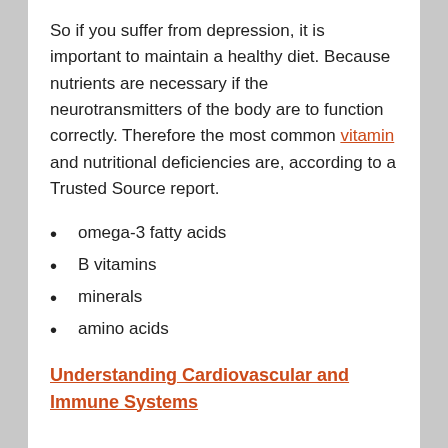So if you suffer from depression, it is important to maintain a healthy diet. Because nutrients are necessary if the neurotransmitters of the body are to function correctly. Therefore the most common vitamin and nutritional deficiencies are, according to a Trusted Source report.
omega-3 fatty acids
B vitamins
minerals
amino acids
Understanding Cardiovascular and Immune Systems